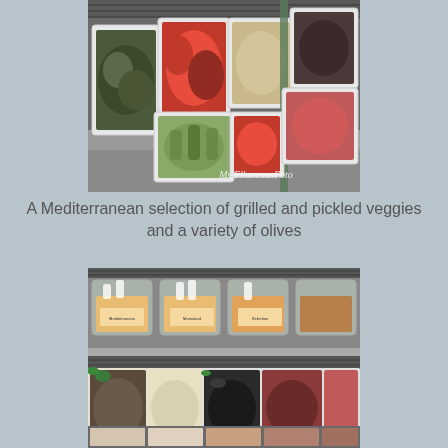[Figure (photo): A deli display case showing multiple white trays filled with grilled and pickled Mediterranean vegetables including red peppers, green okra, artichokes, and other marinated vegetables. Watermark reads 'Ms.EllaneousFoto'.]
A Mediterranean selection of grilled and pickled veggies and a variety of olives
[Figure (photo): A deli display case showing two shelves: the upper shelf has clear plastic containers with label placards and spoons containing various items, and the lower shelf shows white rectangular trays with Mediterranean salads, olives, meats, and other prepared foods.]